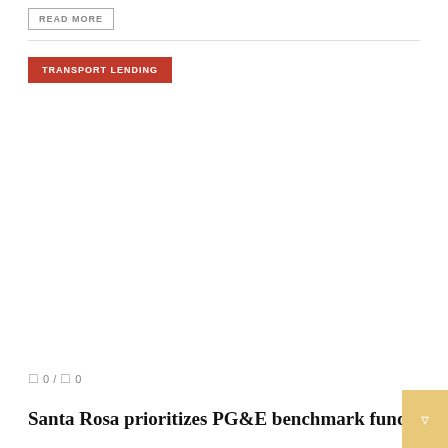READ MORE
TRANSPORT LENDING
0 / 0
Santa Rosa prioritizes PG&E benchmark funds